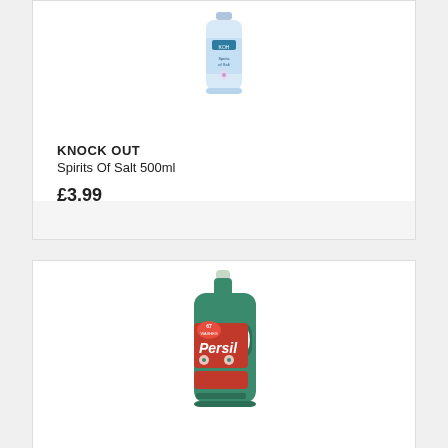[Figure (photo): Knock Out Spirits Of Salt 500ml product bottle image, top portion visible, white/blue bottle with label]
KNOCK OUT
Spirits Of Salt 500ml
£3.99
[Figure (photo): Persil liquid detergent green bottle with red label showing '67 Washes', Persil branding]